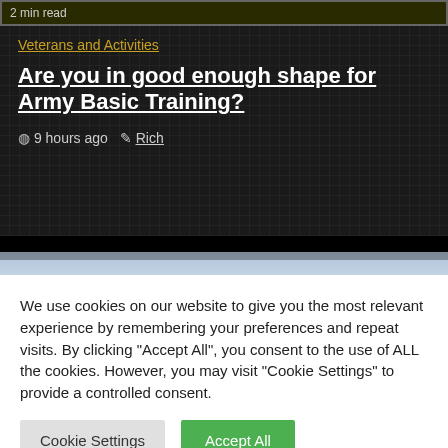2 min read
Veterans and Activities
Are you in good enough shape for Army Basic Training?
9 hours ago  Rich
[Figure (photo): Sky/outdoor photo preview strip]
We use cookies on our website to give you the most relevant experience by remembering your preferences and repeat visits. By clicking "Accept All", you consent to the use of ALL the cookies. However, you may visit "Cookie Settings" to provide a controlled consent.